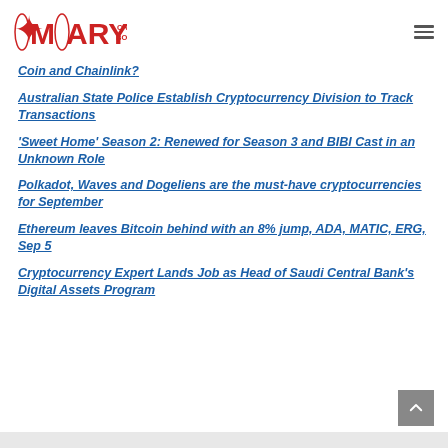MARYLAND CRAB BOWL
Coin and Chainlink?
Australian State Police Establish Cryptocurrency Division to Track Transactions
'Sweet Home' Season 2: Renewed for Season 3 and BIBI Cast in an Unknown Role
Polkadot, Waves and Dogeliens are the must-have cryptocurrencies for September
Ethereum leaves Bitcoin behind with an 8% jump, ADA, MATIC, ERG, Sep 5
Cryptocurrency Expert Lands Job as Head of Saudi Central Bank's Digital Assets Program